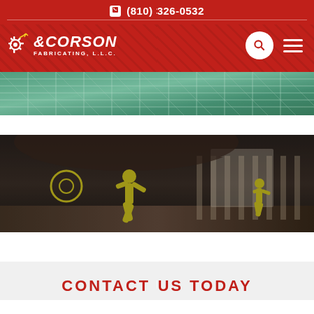(810) 326-0532
[Figure (logo): Corson Fabricating, L.L.C. logo in white text on red background with search and menu icons]
[Figure (photo): Aerial or angled photo of metal grid/grating panels in green and teal tones]
[Figure (photo): Stadium or industrial facility interior with yellow figure/person graphic and structural elements]
CONTACT US TODAY